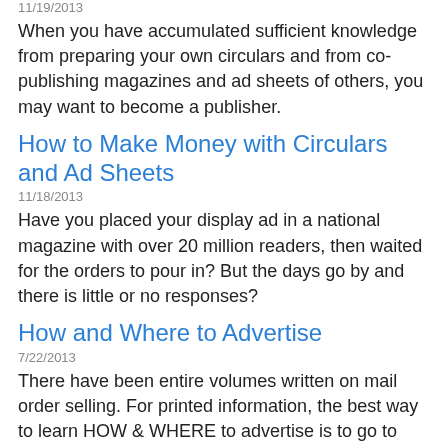11/19/2013
When you have accumulated sufficient knowledge from preparing your own circulars and from co-publishing magazines and ad sheets of others, you may want to become a publisher.
How to Make Money with Circulars and Ad Sheets
11/18/2013
Have you placed your display ad in a national magazine with over 20 million readers, then waited for the orders to pour in? But the days go by and there is little or no responses?
How and Where to Advertise
7/22/2013
There have been entire volumes written on mail order selling. For printed information, the best way to learn HOW & WHERE to advertise is to go to your newsstand and check through all the magazines carrying large numbers of